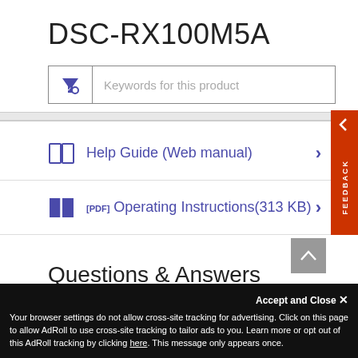DSC-RX100M5A
[Figure (screenshot): Search box with filter icon and placeholder text 'Keywords for this product']
Help Guide (Web manual)
[PDF] Operating Instructions(313 KB)
Questions & Answers
Accept and Close ✕
Your browser settings do not allow cross-site tracking for advertising. Click on this page to allow AdRoll to use cross-site tracking to tailor ads to you. Learn more or opt out of this AdRoll tracking by clicking here. This message only appears once.